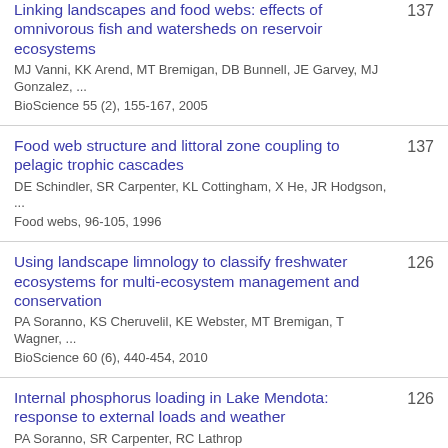Linking landscapes and food webs: effects of omnivorous fish and watersheds on reservoir ecosystems
MJ Vanni, KK Arend, MT Bremigan, DB Bunnell, JE Garvey, MJ Gonzalez, ...
BioScience 55 (2), 155-167, 2005
137
Food web structure and littoral zone coupling to pelagic trophic cascades
DE Schindler, SR Carpenter, KL Cottingham, X He, JR Hodgson, ...
Food webs, 96-105, 1996
137
Using landscape limnology to classify freshwater ecosystems for multi-ecosystem management and conservation
PA Soranno, KS Cheruvelil, KE Webster, MT Bremigan, T Wagner, ...
BioScience 60 (6), 440-454, 2010
126
Internal phosphorus loading in Lake Mendota: response to external loads and weather
PA Soranno, SR Carpenter, RC Lathrop
Canadian Journal of Fisheries and Aquatic Sciences 54 (8), 1883-1893, 1997
126